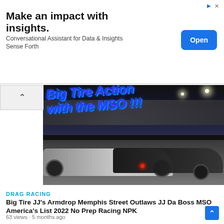[Figure (screenshot): Advertisement banner: 'Make an impact with insights. Conversational Assistant for Data & Insights Sense Forth' with a blue Open button]
[Figure (photo): Drag racing video thumbnail showing two muscle cars racing on a track at night with crowd in background. Text overlay reads 'Big Tire Action with the MSO !!!' in large blue italic letters]
DRAG RACING
Big Tire JJ's Armdrop Memphis Street Outlaws JJ Da Boss MSO America's List 2022 No Prep Racing NPK
63 views · 5 months ago